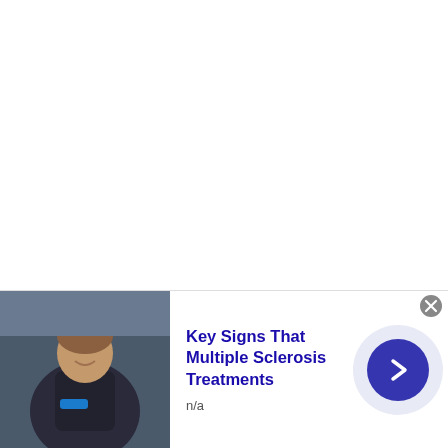However, a big difference between the two is the fit. The Hanwag Belorado II Tubetec Lady GTX are a generous size and roomy, probably to the point where you may want to go for a half size smaller, especially if you don't want to
[Figure (photo): Advertisement banner showing a person outdoors with a blue wristband, alongside text 'Key Signs That Multiple Sclerosis Treatments' and a navigation arrow button]